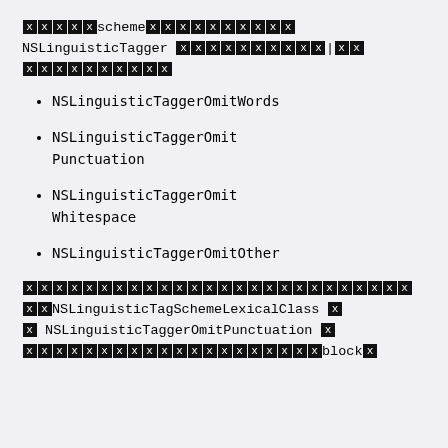[redacted]scheme[redacted] NSLinguisticTagger [redacted]|[redacted][redacted]
NSLinguisticTaggerOmitWords
NSLinguisticTaggerOmitPunctuation
NSLinguisticTaggerOmitWhitespace
NSLinguisticTaggerOmitOther
[redacted][redacted]NSLinguisticTagSchemeLexicalClass [redacted] NSLinguisticTaggerOmitPunctuation [redacted] [redacted]block[redacted]